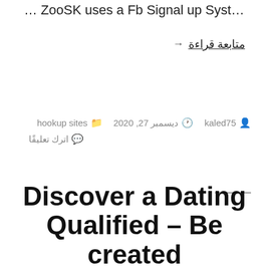… ZooSK uses a Fb Signal up System
→ متابعة قراءة
kaled75  ديسمبر 27, 2020  hookup sites
اترك تعليقًا
Discover a Dating Qualified – Be created